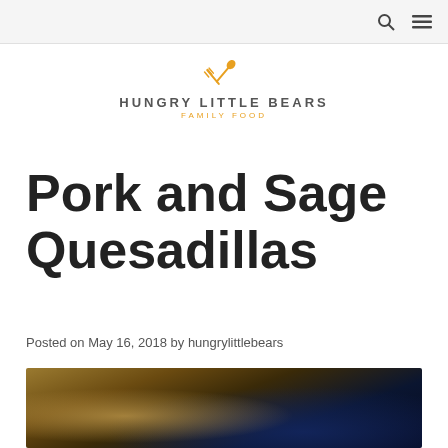Navigation bar with search and menu icons
[Figure (logo): Hungry Little Bears logo with crossed fork and spoon in orange, text 'HUNGRY LITTLE BEARS' and subtitle 'FAMILY FOOD']
Pork and Sage Quesadillas
Posted on May 16, 2018 by hungrylittlebears
[Figure (photo): Close-up photo of pork and sage quesadillas on a plate with a dark background and blue cloth]